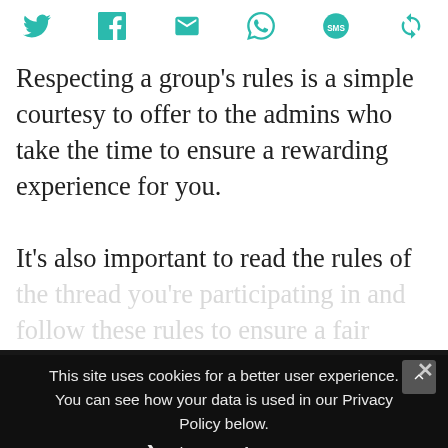[Figure (infographic): Social sharing icons row: Twitter, Facebook, Email, WhatsApp, SMS, share/refresh icon — all in teal/green color]
Respecting a group's rules is a simple courtesy to offer to the admins who take the time to ensure a rewarding experience for you.
It's also important to read the rules of the thread you're participating in and follow these rules to ensure a fair playing field for all. You wouldn't want to be banned from a group for not reciprocating, because members will remember you in other groups as well.
This site uses cookies for a better user experience. You can see how your data is used in our Privacy Policy below.
Privacy Preferences
I Agree